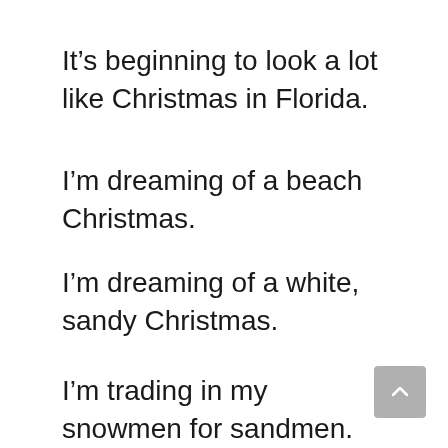It’s beginning to look a lot like Christmas in Florida.
I’m dreaming of a beach Christmas.
I’m dreaming of a white, sandy Christmas.
I’m trading in my snowmen for sandmen.
I’m...